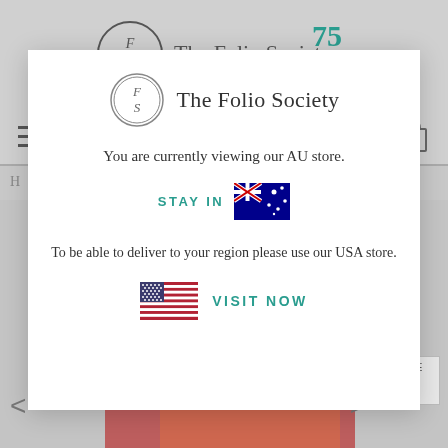[Figure (screenshot): The Folio Society website header with logo and 75 Folio anniversary mark]
[Figure (screenshot): Navigation bar with hamburger menu, Australian flag, search icon, and shopping bag icon]
[Figure (screenshot): Modal dialog from The Folio Society website. Contains logo, text 'You are currently viewing our AU store.', 'STAY IN' link with Australian flag, text 'To be able to deliver to your region please use our USA store.', and 'VISIT NOW' link with US flag.]
You are currently viewing our AU store.
STAY IN
To be able to deliver to your region please use our USA store.
VISIT NOW